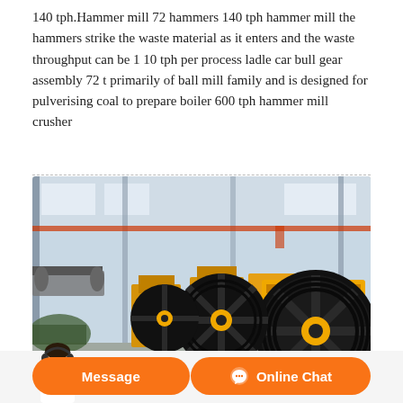140 tph.Hammer mill 72 hammers 140 tph hammer mill the hammers strike the waste material as it enters and the waste throughput can be 1 10 tph per process ladle car bull gear assembly 72 t primarily of ball mill family and is designed for pulverising coal to prepare boiler 600 tph hammer mill crusher
[Figure (photo): Industrial factory floor showing a row of large yellow jaw crusher machines with black flywheel pulleys and red side panels, lined up in a large steel-framed warehouse facility.]